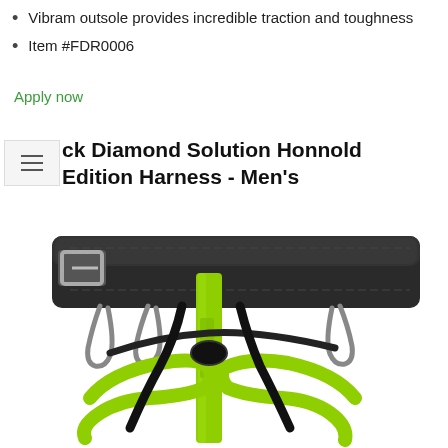Vibram outsole provides incredible traction and toughness
Item #FDR0006
Apply now
Black Diamond Solution Honnold Edition Harness - Men's
[Figure (photo): Black Diamond Solution Honnold Edition climbing harness with black waist belt, lime green/yellow straps, and silver buckle hardware, shown on white background.]